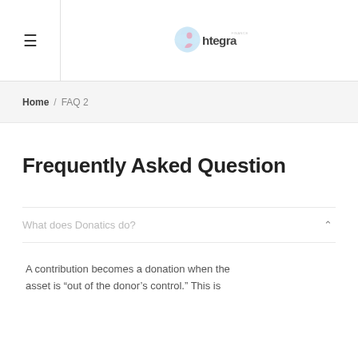Integra (logo)
Home / FAQ 2
Frequently Asked Question
What does Donatics do?
A contribution becomes a donation when the asset is "out of the donor's control." This is